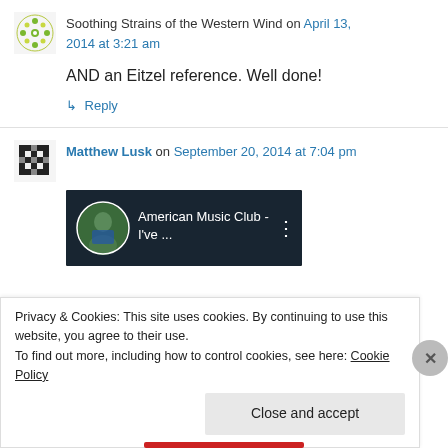Soothing Strains of the Western Wind on April 13, 2014 at 3:21 am
AND an Eitzel reference. Well done!
↳ Reply
Matthew Lusk on September 20, 2014 at 7:04 pm
[Figure (screenshot): YouTube video thumbnail showing American Music Club - I've ... with a person's avatar]
Privacy & Cookies: This site uses cookies. By continuing to use this website, you agree to their use. To find out more, including how to control cookies, see here: Cookie Policy
Close and accept